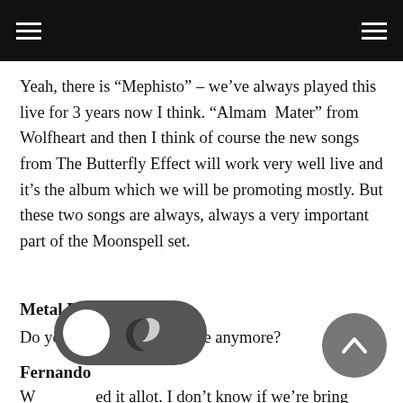Yeah, there is “Mephisto” – we’ve always played this live for 3 years now I think. “Almam Mater” from Wolfheart and then I think of course the new songs from The Butterfly Effect will work very well live and it’s the album which we will be promoting mostly. But these two songs are always, always a very important part of the Moonspell set.
Metal Rules!!
Do you play “Vampiria” live anymore?
Fernando
W[e’ve play]ed it allot. I don’t know if we’re bringing this song to the States, anyway We know how to play it very well